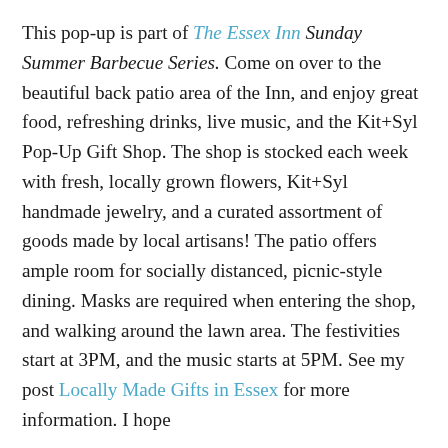This pop-up is part of The Essex Inn Sunday Summer Barbecue Series. Come on over to the beautiful back patio area of the Inn, and enjoy great food, refreshing drinks, live music, and the Kit+Syl Pop-Up Gift Shop. The shop is stocked each week with fresh, locally grown flowers, Kit+Syl handmade jewelry, and a curated assortment of goods made by local artisans! The patio offers ample room for socially distanced, picnic-style dining. Masks are required when entering the shop, and walking around the lawn area. The festivities start at 3PM, and the music starts at 5PM. See my post Locally Made Gifts in Essex for more information. I hope